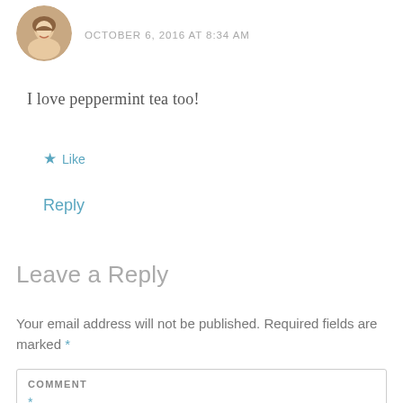[Figure (photo): Circular avatar photo of a smiling woman with blonde hair]
OCTOBER 6, 2016 AT 8:34 AM
I love peppermint tea too!
★ Like
Reply
Leave a Reply
Your email address will not be published. Required fields are marked *
COMMENT
*